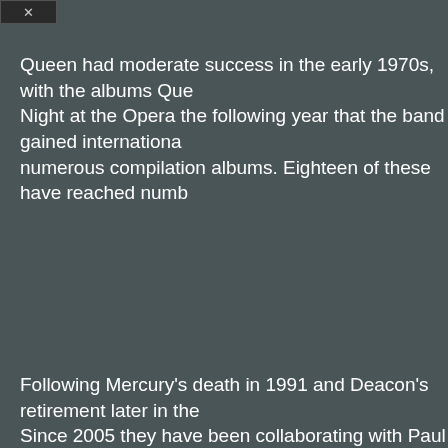[Figure (screenshot): Close button (X) in top-left corner of a dark UI panel]
Queen had moderate success in the early 1970s, with the albums Que- Night at the Opera the following year that the band gained internationa- numerous compilation albums. Eighteen of these have reached numb-
Following Mercury's death in 1991 and Deacon's retirement later in the- Since 2005 they have been collaborating with Paul Rodgers, under the-